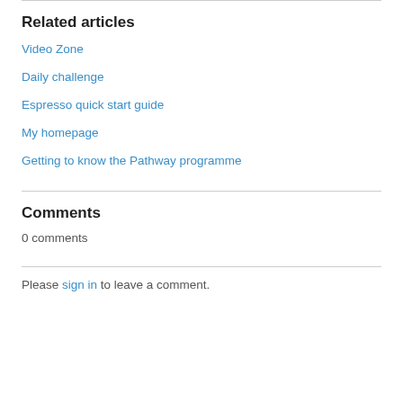Related articles
Video Zone
Daily challenge
Espresso quick start guide
My homepage
Getting to know the Pathway programme
Comments
0 comments
Please sign in to leave a comment.